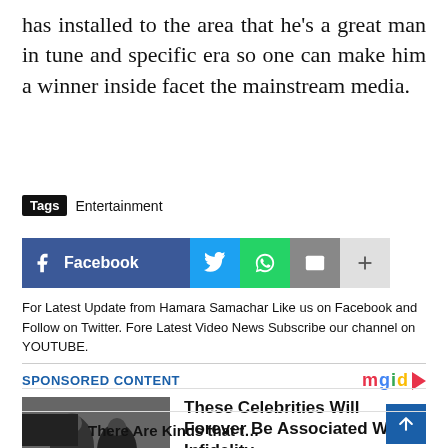has installed to the area that he's a great man in tune and specific era so one can make him a winner inside facet the mainstream media.
Tags  Entertainment
[Figure (infographic): Social share buttons: Facebook, Twitter, WhatsApp, Email, and More (+)]
For Latest Update from Hamara Samachar Like us on Facebook and Follow on Twitter. Fore Latest Video News Subscribe our channel on YOUTUBE.
SPONSORED CONTENT  mgid
[Figure (photo): Photo of two people in black clothing outdoors]
These Celebrities Will Forever Be Associated With Infidelity
Herbeauty